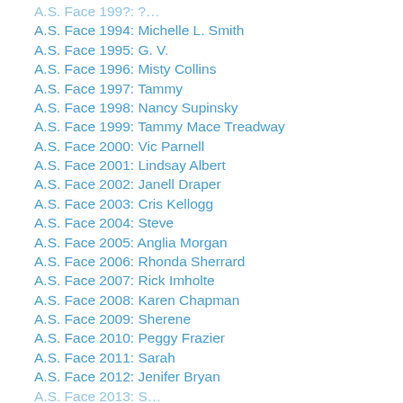A.S. Face 1994: Michelle L. Smith
A.S. Face 1995: G. V.
A.S. Face 1996: Misty Collins
A.S. Face 1997: Tammy
A.S. Face 1998: Nancy Supinsky
A.S. Face 1999: Tammy Mace Treadway
A.S. Face 2000: Vic Parnell
A.S. Face 2001: Lindsay Albert
A.S. Face 2002: Janell Draper
A.S. Face 2003: Cris Kellogg
A.S. Face 2004: Steve
A.S. Face 2005: Anglia Morgan
A.S. Face 2006: Rhonda Sherrard
A.S. Face 2007: Rick Imholte
A.S. Face 2008: Karen Chapman
A.S. Face 2009: Sherene
A.S. Face 2010: Peggy Frazier
A.S. Face 2011: Sarah
A.S. Face 2012: Jenifer Bryan
A.S. Face 2013: (partial, cut off)